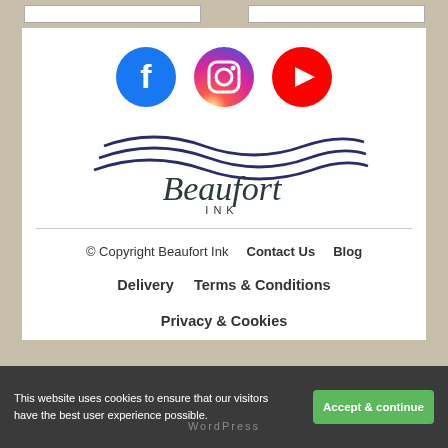[Figure (infographic): Social media icons: Facebook (blue circle with F), Instagram (gradient circle with camera icon), YouTube (red circle with play button)]
[Figure (logo): Beaufort Ink logo with wave graphic above the text 'Beaufort INK']
© Copyright Beaufort Ink   Contact Us   Blog   Delivery   Terms & Conditions   Privacy & Cookies
This website uses cookies to ensure that our visitors have the best user experience possible.